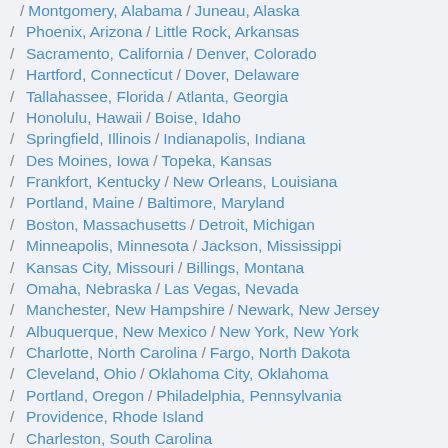Montgomery, Alabama / Juneau, Alaska
Phoenix, Arizona / Little Rock, Arkansas
Sacramento, California / Denver, Colorado
Hartford, Connecticut / Dover, Delaware
Tallahassee, Florida / Atlanta, Georgia
Honolulu, Hawaii / Boise, Idaho
Springfield, Illinois / Indianapolis, Indiana
Des Moines, Iowa / Topeka, Kansas
Frankfort, Kentucky / New Orleans, Louisiana
Portland, Maine / Baltimore, Maryland
Boston, Massachusetts / Detroit, Michigan
Minneapolis, Minnesota / Jackson, Mississippi
Kansas City, Missouri / Billings, Montana
Omaha, Nebraska / Las Vegas, Nevada
Manchester, New Hampshire / Newark, New Jersey
Albuquerque, New Mexico / New York, New York
Charlotte, North Carolina / Fargo, North Dakota
Cleveland, Ohio / Oklahoma City, Oklahoma
Portland, Oregon / Philadelphia, Pennsylvania
Providence, Rhode Island
Charleston, South Carolina
Sioux Falls, South Dakota / Nashville, Tennessee
Houston, Texas / Salt Lake City, Utah